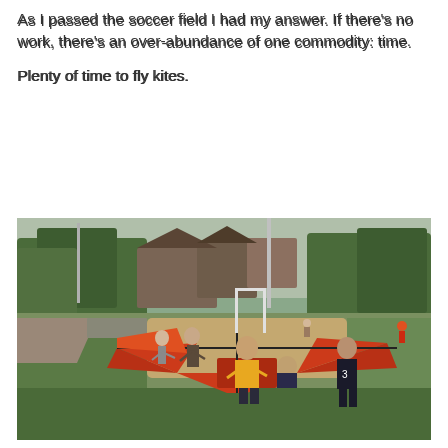As I passed the soccer field I had my answer. If there's no work, there's an over-abundance of one commodity: time.
Plenty of time to fly kites.
[Figure (photo): People preparing and assembling a large red kite on a grassy soccer field. Several people are visible handling the kite's frame and fabric. In the background are trees, buildings, and a soccer goal post.]